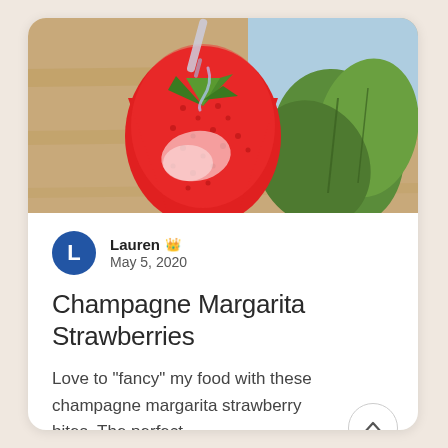[Figure (photo): Close-up photo of a red strawberry with sugar/salt coating and green leaves, on a wooden surface with a cocktail drizzle]
Lauren 👑
May 5, 2020
Champagne Margarita Strawberries
Love to "fancy" my food with these champagne margarita strawberry bites. The perfect...